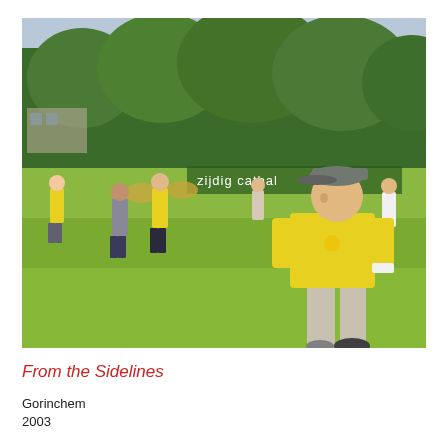[Figure (photo): Outdoor sports field scene with people wearing yellow shirts playing a game. A banner in the background reads 'zijdig catbal'. Large green trees line the background under a light blue sky. A man in a yellow shirt, gray cap, and khaki shorts walks in the foreground on the right.]
From the Sidelines
Gorinchem
2003